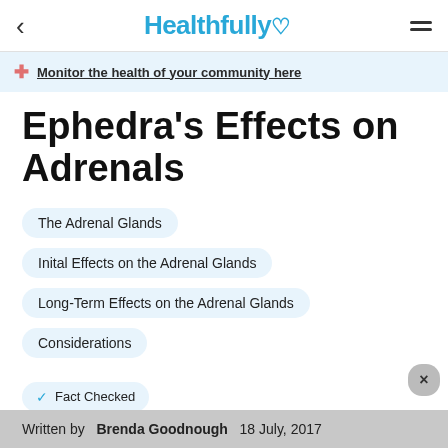< Healthfully ♡ ≡
Monitor the health of your community here
Ephedra's Effects on Adrenals
The Adrenal Glands
Inital Effects on the Adrenal Glands
Long-Term Effects on the Adrenal Glands
Considerations
✓  Fact Checked
Written by  Brenda Goodnough  18 July, 2017